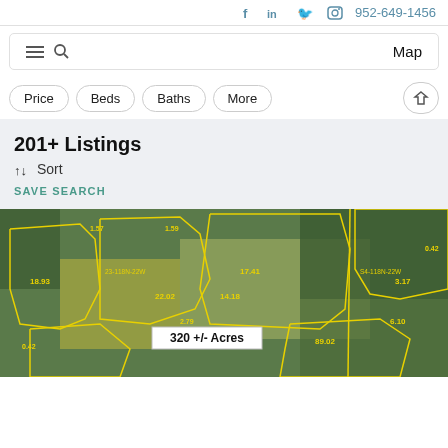f  in  🐦  ○  952-649-1456
≡ 🔍   Map
Price  Beds  Baths  More
201+ Listings
↑↓ Sort
SAVE SEARCH
[Figure (map): Aerial map showing farmland parcels outlined in yellow, with acreage labels. Numbers visible: 1.57, 1.59, 18.93, 23-118N-22W, 22.02, 17.41, 14.18, 2.79, 89.02, 0.42, S4-118N-22W, 6.10, 3.17, 0.42. Label in center reads '320 +/- Acres'.]